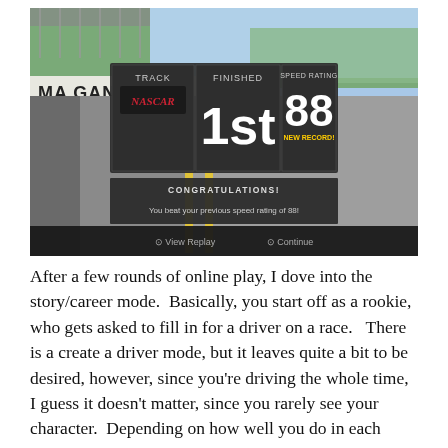[Figure (screenshot): Screenshot of a racing video game showing a results screen. The overlay displays: TRACK (with a stylized logo), FINISHED: 1st, SPEED RATING: 88 NEW RECORD! A CONGRATULATIONS banner reads 'You beat your previous speed rating of 88!' The background shows a racetrack with 'MA GANG SU' text visible on a wall, a grandstand, and an empty track with yellow lines. Bottom bar shows 'View Replay' and 'Continue' options.]
After a few rounds of online play, I dove into the story/career mode.  Basically, you start off as a rookie, who gets asked to fill in for a driver on a race.   There is a create a driver mode, but it leaves quite a bit to be desired, however, since you're driving the whole time, I guess it doesn't matter, since you rarely see your character.  Depending on how well you do in each race, you may get picked to fill in on other races, as the weeks go by.  With each race, you will get some